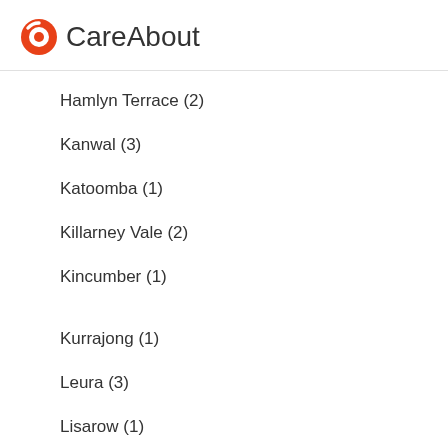CareAbout
Hamlyn Terrace (2)
Kanwal (3)
Katoomba (1)
Killarney Vale (2)
Kincumber (1)
Kurrajong (1)
Leura (3)
Lisarow (1)